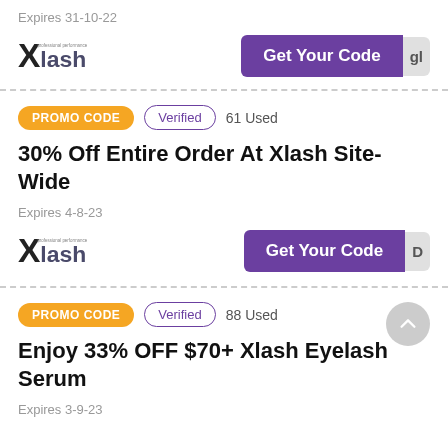Expires 31-10-22
[Figure (logo): Xlash brand logo]
Get Your Code
PROMO CODE  Verified  61 Used
30% Off Entire Order At Xlash Site-Wide
Expires 4-8-23
[Figure (logo): Xlash brand logo]
Get Your Code
PROMO CODE  Verified  88 Used
Enjoy 33% OFF $70+ Xlash Eyelash Serum
Expires 3-9-23